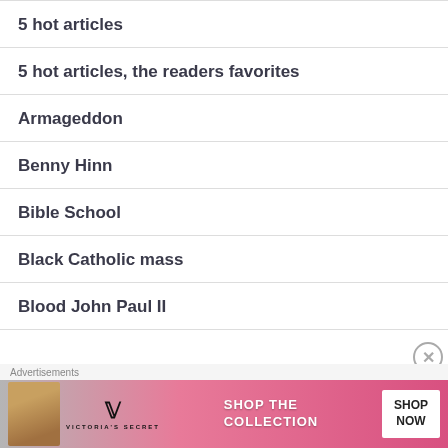5 hot articles
5 hot articles, the readers favorites
Armageddon
Benny Hinn
Bible School
Black Catholic mass
Blood John Paul II
Advertisements
[Figure (other): Victoria's Secret advertisement banner showing a model, VS logo, 'SHOP THE COLLECTION' text, and 'SHOP NOW' button]